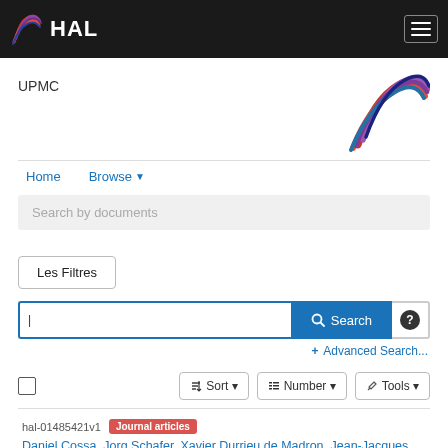HAL
UPMC
[Figure (logo): HAL UPMC wavy colorful logo top right]
Home
Browse
Search by documents
Les Filtres
Search
+ Advanced Search...
Sort  Number  Tools
hal-01485421v1  Journal articles  Daniel Cossa, Jorg Schafer, Xavier Durrieu de Madron, Jean-Jacques